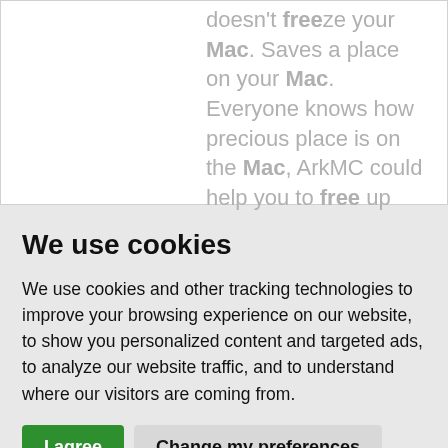doesn't freeze your Mac. Saves a place on your Mac. Everyone knows how precious place is on the Mac, ArkMC could help you to free up your Mac, consequently,
We use cookies
We use cookies and other tracking technologies to improve your browsing experience on our website, to show you personalized content and targeted ads, to analyze our website traffic, and to understand where our visitors are coming from.
I agree   Change my preferences